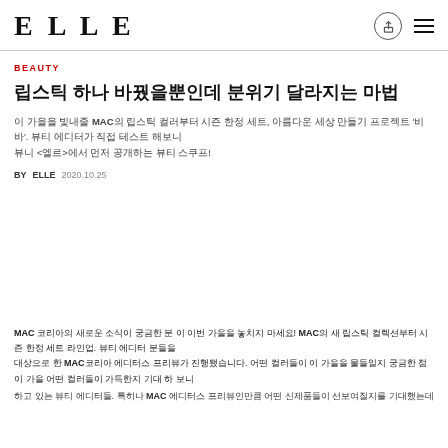ELLE
BEAUTY
립스틱 하나 바꿨을뿐인데 분위기 달라지는 마법
이 가을을 빛내줄 MAC의 립스틱 컬러부터 시즌 한정 세트, 아름다운 세상 만들기 프로젝트 'VIVA'. 뷰티 에디터가 직접 테스트 해보니 <엘르>에서 먼저 공개하는 뷰티 스쿠프!
BY  ELLE     2020.10.25
MAC 코리아의 새로운 소식이 궁금한 분 이 거을 놓치지 마세요! MAC의 새 립스틱 컬렉션부터 시즌 한정 세트 라인업. 아름다운 세상을 향한 뷰티 메이크업 프레스를 향한 MAC코리아 에디터스 프리뷰가 진행됐습니다. 어떤 컬러들이 이 가을을 물들일지 기대됩니까 기 해보니